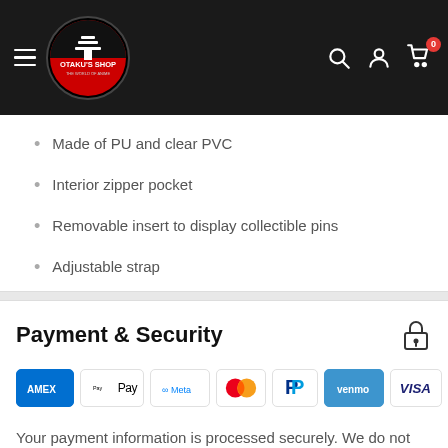[Figure (logo): Otaku's Shop logo with hamburger menu and navigation icons on a black header bar]
Made of PU and clear PVC
Interior zipper pocket
Removable insert to display collectible pins
Adjustable strap
Payment & Security
[Figure (other): Payment method icons: American Express, Apple Pay, Meta Pay, Mastercard, PayPal, Venmo, Visa]
Your payment information is processed securely. We do not store credit card details nor have access to your credit card